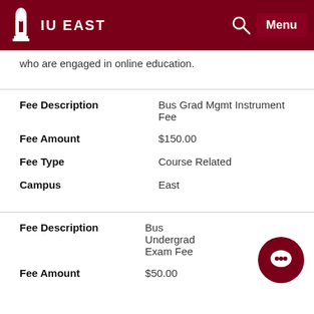IU EAST
who are engaged in online education.
| Fee Description | Bus Grad Mgmt Instrument Fee |
| Fee Amount | $150.00 |
| Fee Type | Course Related |
| Campus | East |
| Fee Description | Bus Undergrad Exam Fee |
| Fee Amount | $50.00 |